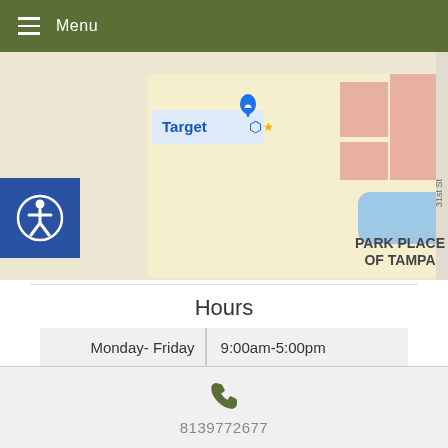Menu
[Figure (map): Google Maps partial screenshot showing Target, AdventHealth T, PARK PLACE OF TAMPA, 31st St labels]
Hours
| Monday- Friday | 9:00am-5:00pm |
| Saturday | 9:00am-12:00pm |
| Sun | closed |
8139772677